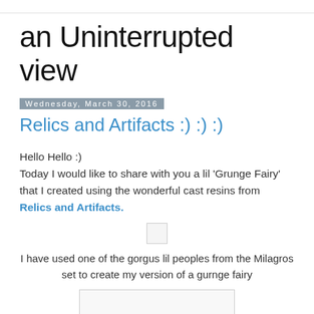an Uninterrupted view
Wednesday, March 30, 2016
Relics and Artifacts :) :) :)
Hello Hello :)
Today I would like to share with you a lil 'Grunge Fairy' that I created using the wonderful cast resins from Relics and Artifacts.
[Figure (other): Small image placeholder icon]
I have used one of the gorgus lil peoples from the Milagros set to create my version of a gurnge fairy
[Figure (photo): Large image placeholder at bottom of page]